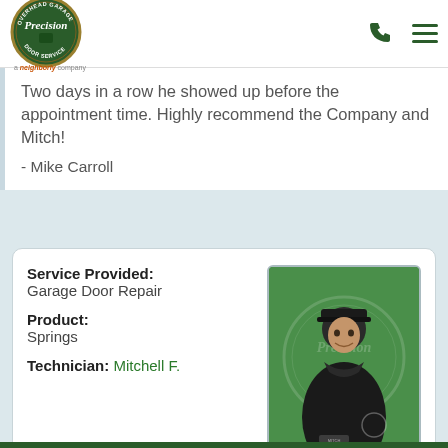[Figure (logo): Precision Door Service overhead garage logo - circular green badge with gold border, 'a neighborly company' tagline below]
Two days in a row he showed up before the appointment time. Highly recommend the Company and Mitch!
- Mike Carroll
| Service Provided: | Garage Door Repair |
| Product: | Springs |
| Technician: | Mitchell F. |
[Figure (photo): Technician Mitchell F. headshot photo against green Precision Door Service branded background, wearing dark polo shirt and dark cap]